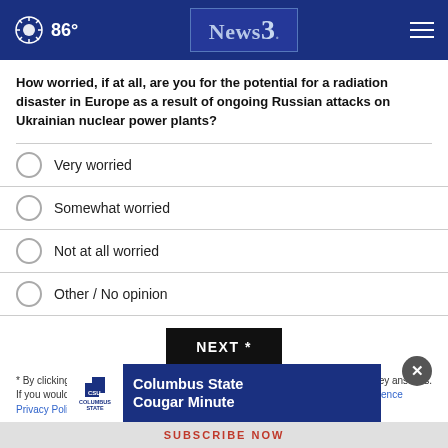86° News3
How worried, if at all, are you for the potential for a radiation disaster in Europe as a result of ongoing Russian attacks on Ukrainian nuclear power plants?
Very worried
Somewhat worried
Not at all worried
Other / No opinion
NEXT *
* By clicking "NEXT" you agree to the following: We use cookies to track your survey answers. If you would like to continue with this survey, please read and agree to the CivicScience Privacy Policy and Terms of Service
[Figure (logo): Columbus State University logo with Cougar Minute advertisement banner]